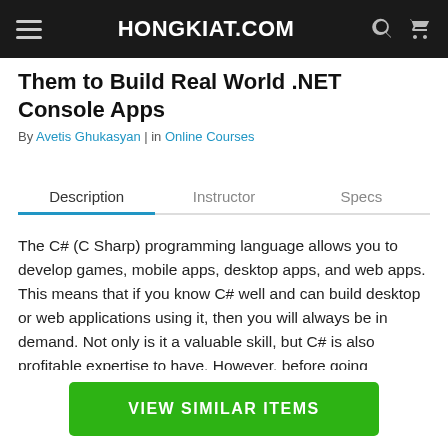HONGKIAT.COM
Them to Build Real World .NET Console Apps
By Avetis Ghukasyan | in Online Courses
Description | Instructor | Specs
The C# (C Sharp) programming language allows you to develop games, mobile apps, desktop apps, and web apps. This means that if you know C# well and can build desktop or web applications using it, then you will always be in demand. Not only is it a valuable skill, but C# is also profitable expertise to have. However, before going anywhere, you first need to learn the fundamentals. This course will co…the core fundamentals of C# and a context for…
VIEW SIMILAR ITEMS